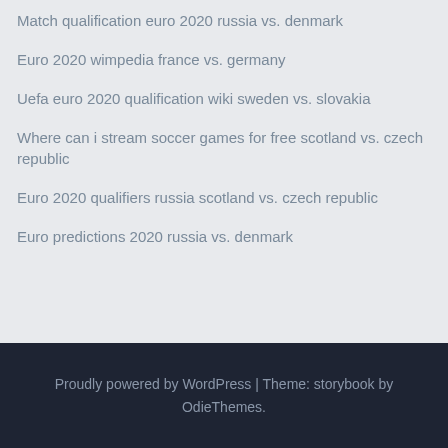Match qualification euro 2020 russia vs. denmark
Euro 2020 wimpedia france vs. germany
Uefa euro 2020 qualification wiki sweden vs. slovakia
Where can i stream soccer games for free scotland vs. czech republic
Euro 2020 qualifiers russia scotland vs. czech republic
Euro predictions 2020 russia vs. denmark
Proudly powered by WordPress | Theme: storybook by OdieThemes.